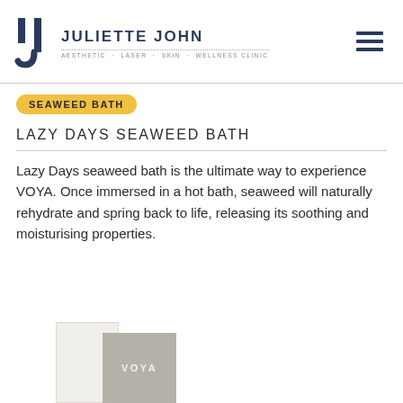JULIETTE JOHN — AESTHETIC · LASER · SKIN · WELLNESS CLINIC
SEAWEED BATH
LAZY DAYS SEAWEED BATH
Lazy Days seaweed bath is the ultimate way to experience VOYA. Once immersed in a hot bath, seaweed will naturally rehydrate and spring back to life, releasing its soothing and moisturising properties.
[Figure (photo): VOYA product boxes — one white/cream box and one grey box with VOYA branding, partially visible at bottom of page]